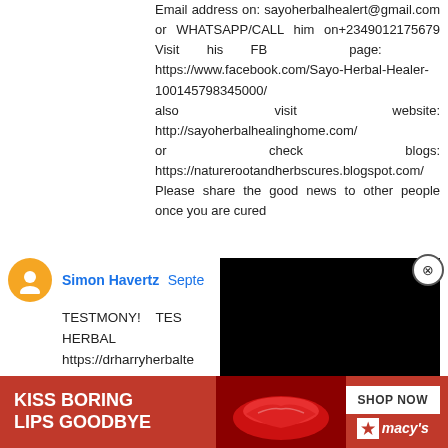Email address on: sayoherbalhealert@gmail.com or WHATSAPP/CALL him on+2349012175679 Visit his FB page: https://www.facebook.com/Sayo-Herbal-Healer-100145798345000/ also visit website: http://sayoherbalhealinghome.com/ or check blogs: https://naturerootandherbscures.blogspot.com/  Please share the good news to other people once you are cured
Simon Havertz  Septe...
TESTMONY! TES... HERBAL https://drharryherbalt... WHATSA... drharrysolution@gmail.com Hello everyone i have been worried for so many years now because i was trying to figure out how to cure my (erectile dysfunction) and enlarge my ... penis ... as told ... ave me
[Figure (other): Black video/ad overlay popup with close button (X circle) at top-right]
[Figure (photo): Macy's advertisement banner at the bottom: red background, 'KISS BORING LIPS GOODBYE' text, lips photo, SHOP NOW button, Macy's star logo]